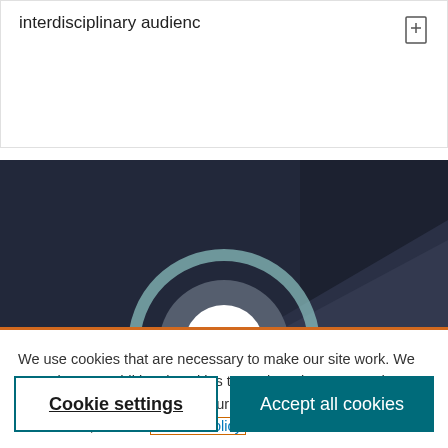interdisciplinary audienc
[Figure (screenshot): Dark background image with a circular play/navigation button featuring a downward chevron icon, shown partially cropped at top and bottom with an orange bar at the bottom edge]
We use cookies that are necessary to make our site work. We may also use additional cookies to analyze, improve, and personalize our content and your digital experience. For more information, see our Cookie Policy
Cookie settings
Accept all cookies